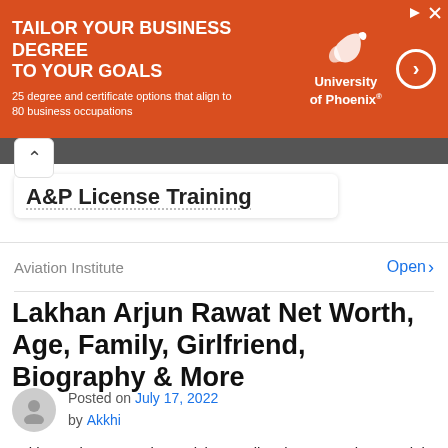[Figure (infographic): Orange advertisement banner for University of Phoenix: 'Tailor your business degree to your goals. 25 degree and certificate options that align to 80 business occupations.' University of Phoenix logo with dove icon and arrow button.]
[Figure (photo): Gray/dark horizontal photo strip at the top of the page content area.]
A&P License Training
Aviation Institute   Open >
Lakhan Arjun Rawat Net Worth, Age, Family, Girlfriend, Biography & More
Posted on July 17, 2022 by Akkhi
Lakhan Arjun Rawat is a Cricketer, Tik Toker, YouTuber, Model, and Social Media Influencer. He was born on 29 September 1997 in Mumbai, Maharashtra, India. to d...